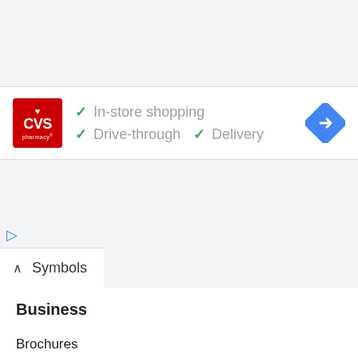[Figure (logo): CVS Pharmacy advertisement banner showing logo with checkmarks for In-store shopping, Drive-through, and Delivery features, plus a navigation/directions icon on the right]
[Figure (other): Ad controls: play triangle icon and X close icon in blue]
Symbols
Business
Brochures
Business Cards